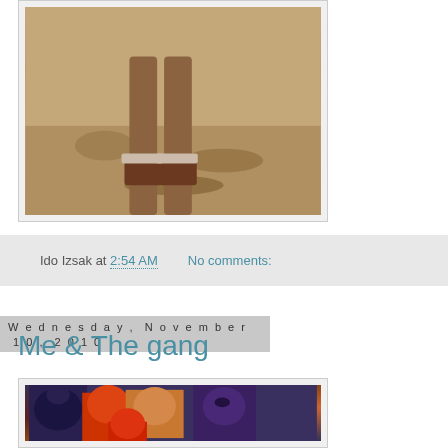[Figure (photo): Partial photo showing a person's legs from the knees down, wearing brown shoes and socks, standing on sandy/rocky ground]
Ido Izsak at 2:54 AM    No comments:
Wednesday, November 10, 2010
Me & The gang
[Figure (photo): Photo of a person with Sesame Street Muppet characters including Elmo, Grover, Ernie, and others in a group photo]